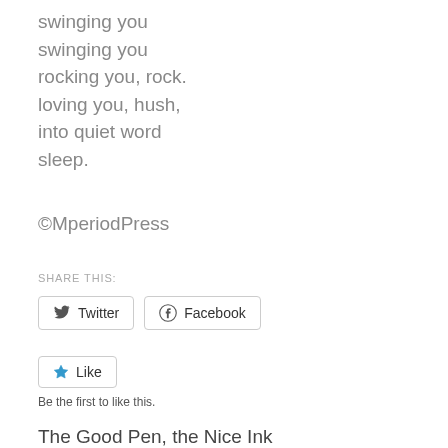swinging you
swinging you
rocking you, rock.
loving you, hush,
into quiet word
sleep.
©MperiodPress
SHARE THIS:
Twitter  Facebook
Like
Be the first to like this.
The Good Pen, the Nice Ink